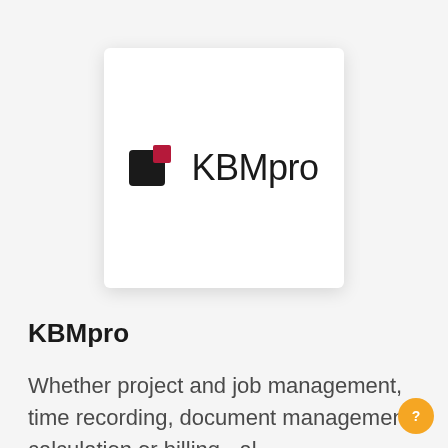[Figure (logo): KBMpro logo — two overlapping squares (black and dark red/crimson) followed by the text KBMpro in dark sans-serif font, displayed on a white rounded card with a light shadow]
KBMpro
Whether project and job management, time recording, document management, calculation or billing - al